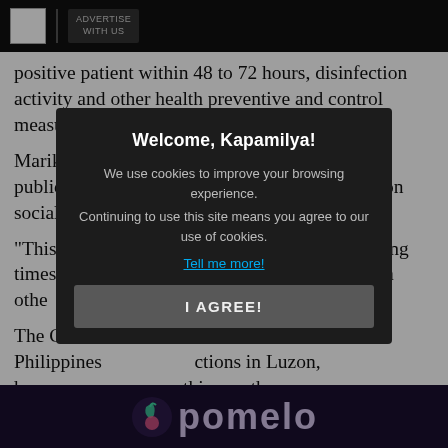ADVERTISE WITH US
positive patient within 48 to 72 hours, disinfection activity and other health preventive and control measures," the local government added.
Marikina Mayor Marcy Teodoro appealed to the public to be responsible in sharing information on social media.
“This is not the time for panic. During these trying times, we m... to help each othe...
The Green... before the Philippines... ctions in Luzon, has... es this month.--w... ABS-CBN News
[Figure (screenshot): Cookie consent modal overlay on dark background reading: Welcome, Kapamilya! We use cookies to improve your browsing experience. Continuing to use this site means you agree to our use of cookies. Tell me more! I AGREE!]
[Figure (logo): Bottom advertisement banner showing partial pomelo brand logo in dark purple background]